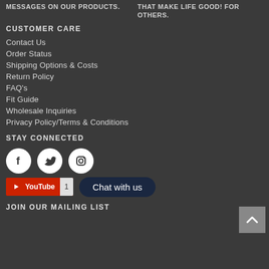MESSAGES ON OUR PRODUCTS.
THAT MAKE LIFE GOOD! FOR OTHERS.
CUSTOMER CARE
Contact Us
Order Status
Shipping Options & Costs
Return Policy
FAQ's
Fit Guide
Wholesale Inquiries
Privacy Policy/Terms & Conditions
STAY CONNECTED
[Figure (infographic): Social media icons: Facebook, Twitter, Instagram circles, YouTube button with count 1, Chat with us button, back to top arrow button]
JOIN OUR MAILING LIST